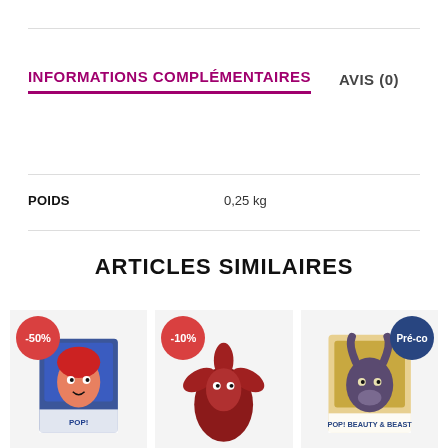INFORMATIONS COMPLÉMENTAIRES
AVIS (0)
| POIDS |  |
| --- | --- |
| POIDS | 0,25 kg |
ARTICLES SIMILAIRES
[Figure (photo): Product card with -50% badge showing a Funko Pop figure]
[Figure (photo): Product card with -10% badge showing a Funko Pop figure]
[Figure (photo): Product card with Pré-co badge showing a Funko Pop figure]